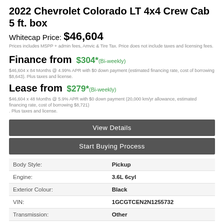2022 Chevrolet Colorado LT 4x4 Crew Cab 5 ft. box
Whitecap Price: $46,604
Prices includes MSPP + admin fees, Amvic & Tire Tax. Price does not include taxes and licensing fees.
Finance from $304* (Bi-weekly)
$46,604 x 84 Months @ 4.99% APR with $0 down payment (estimated financing rate, cost of borrowing $8,643). Plus taxes and license.
Lease from $279* (Bi-weekly)
$46,604 x 48 Months @ 5.9% APR with $0 down payment (20,000 km/yr allowance, estimated financing rate, cost of borrowing $8,721) . Plus taxes and license.
View Details
Start Buying Process
|  |  |
| --- | --- |
| Body Style: | Pickup |
| Engine: | 3.6L 6cyl |
| Exterior Colour: | Black |
| VIN: | 1GCGTCEN2N1255732 |
| Transmission: | Other |